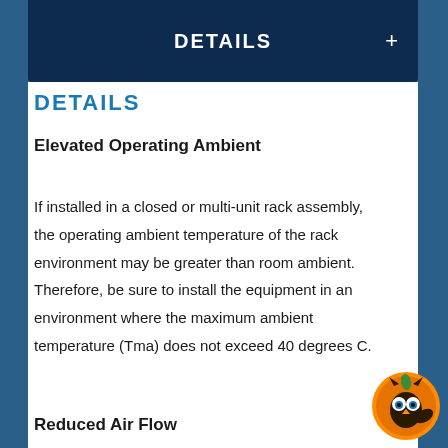DETAILS
DETAILS
Elevated Operating Ambient
If installed in a closed or multi-unit rack assembly, the operating ambient temperature of the rack environment may be greater than room ambient. Therefore, be sure to install the equipment in an environment where the maximum ambient temperature (Tma) does not exceed 40 degrees C.
Reduced Air Flow